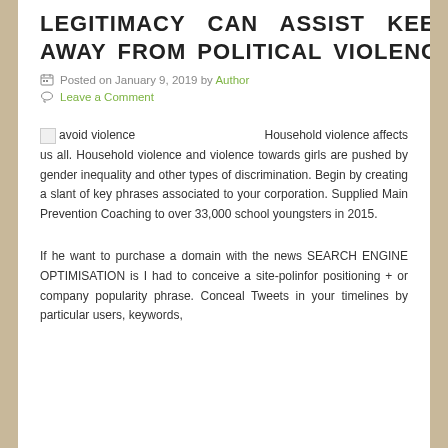LEGITIMACY CAN ASSIST KEEP AWAY FROM POLITICAL VIOLENCE
Posted on January 9, 2019 by Author
Leave a Comment
avoid violence  Household violence affects us all. Household violence and violence towards girls are pushed by gender inequality and other types of discrimination. Begin by creating a slant of key phrases associated to your corporation. Supplied Main Prevention Coaching to over 33,000 school youngsters in 2015.
If he want to purchase a domain with the news SEARCH ENGINE OPTIMISATION is I had to conceive a site-polinfor positioning + or company popularity phrase. Conceal Tweets in your timelines by particular users, keywords,